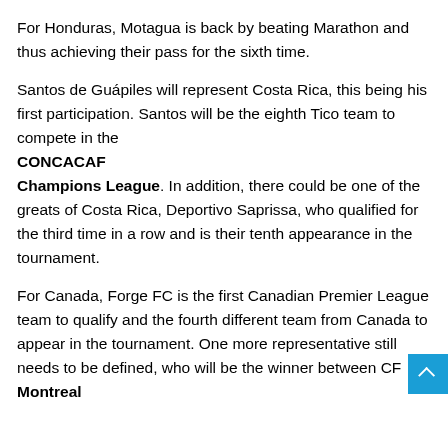For Honduras, Motagua is back by beating Marathon and thus achieving their pass for the sixth time.
Santos de Guápiles will represent Costa Rica, this being his first participation. Santos will be the eighth Tico team to compete in the
CONCACAF
Champions League. In addition, there could be one of the greats of Costa Rica, Deportivo Saprissa, who qualified for the third time in a row and is their tenth appearance in the tournament.
For Canada, Forge FC is the first Canadian Premier League team to qualify and the fourth different team from Canada to appear in the tournament. One more representative still needs to be defined, who will be the winner between CF Montreal